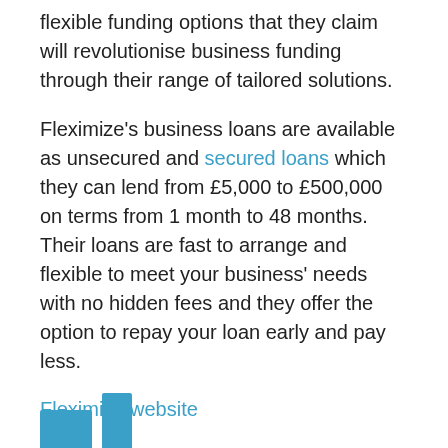flexible funding options that they claim will revolutionise business funding through their range of tailored solutions.
Fleximize's business loans are available as unsecured and secured loans which they can lend from £5,000 to £500,000 on terms from 1 month to 48 months. Their loans are fast to arrange and flexible to meet your business' needs with no hidden fees and they offer the option to repay your loan early and pay less.
Fleximize website
7. Liberis
[Figure (logo): Liberis logo partial — two teal rectangular bars of different heights visible at the bottom of the page]